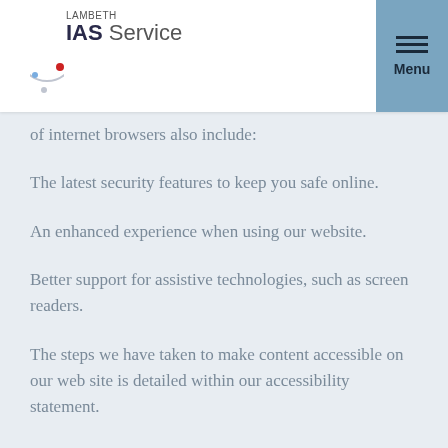[Figure (logo): Lambeth IAS Service logo with circular graphic and red dot]
of internet browsers also include:
The latest security features to keep you safe online.
An enhanced experience when using our website.
Better support for assistive technologies, such as screen readers.
The steps we have taken to make content accessible on our web site is detailed within our accessibility statement.
There is a wealth of additional information about web site accessibility, and improving access to web site content, in further help and